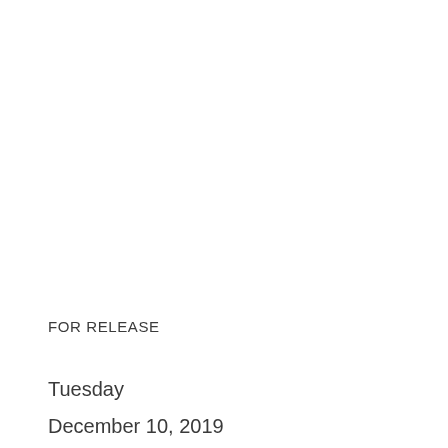FOR RELEASE
Tuesday
December 10, 2019